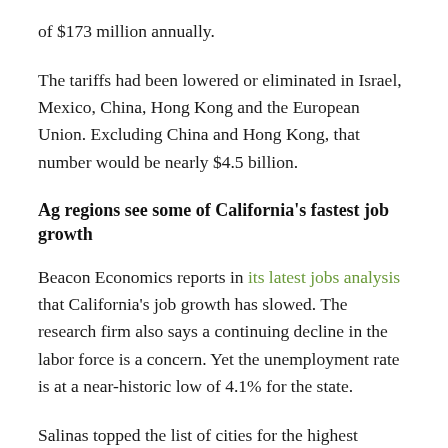of $173 million annually.
The tariffs had been lowered or eliminated in Israel, Mexico, China, Hong Kong and the European Union. Excluding China and Hong Kong, that number would be nearly $4.5 billion.
Ag regions see some of California’s fastest job growth
Beacon Economics reports in its latest jobs analysis that California’s job growth has slowed. The research firm also says a continuing decline in the labor force is a concern. Yet the unemployment rate is at a near-historic low of 4.1% for the state.
Salinas topped the list of cities for the highest growth rate for nonfarm jobs over this time last year, at 3.7%. Several